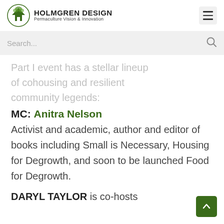HOLMGREN DESIGN Permaculture Vision & Innovation
Search...
Part I event has a stellar lineup of cohousing and resilient community legends:
MC: Anitra Nelson
Activist and academic, author and editor of books including Small is Necessary, Housing for Degrowth, and soon to be launched Food for Degrowth.
DARYL TAYLOR is co-hosts